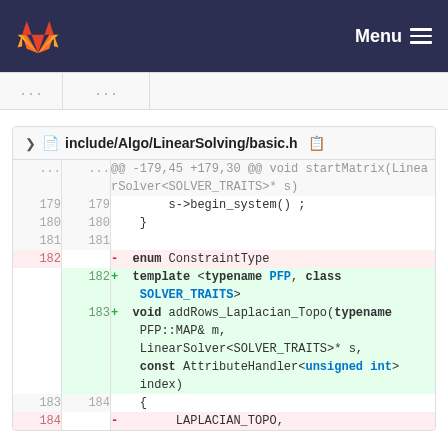[Figure (screenshot): GitLab navigation bar with logo and Menu button]
... ...
include/Algo/LinearSolving/basic.h
@@ -179,45 +179,30 @@ void startMatrix(LinearSolver<SOLVER_TRAITS>* s)
179  179      s->begin_system() ;
180  180  }
181  181
182       -  enum ConstraintType
182  +  template <typename PFP, class SOLVER_TRAITS>
183  +  void addRows_Laplacian_Topo(typename PFP::MAP& m, LinearSolver<SOLVER_TRAITS>* s, const AttributeHandler<unsigned int> index)
183  184  {
184       -      LAPLACIAN_TOPO,